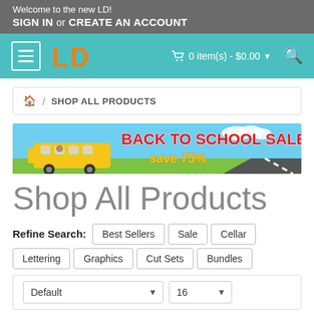Welcome to the new LD!
SIGN IN or CREATE AN ACCOUNT
[Figure (screenshot): Teal navigation bar with hamburger menu, LD logo in orange, cart showing 0 item(s) - $0.00, and search icon]
🏠 / SHOP ALL PRODUCTS
[Figure (illustration): Back to School Sale banner with school bus and save 75% text]
Shop All Products
Refine Search: Best Sellers | Sale | Cellar | Lettering | Graphics | Cut Sets | Bundles
Default  16